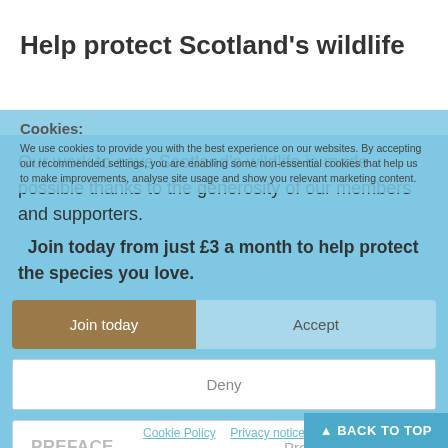Help protect Scotland's wildlife
Our work to save Scotland's wildlife is made possible thanks to the generosity of our members and supporters.
Join today from just £3 a month to help protect the species you love.
Cookies:
We use cookies to provide you with the best experience on our websites. By accepting our recommended settings, you are enabling some non-essential cookies that help us to make improvements, analyse site usage and show you relevant marketing content.
Join today   Accept
Deny
PREFACE   Preferences
Good evening all, Events at the nest today: Today our osprey pair
Cookie Policy   Privacy notice   ▲ BACK TO TOP